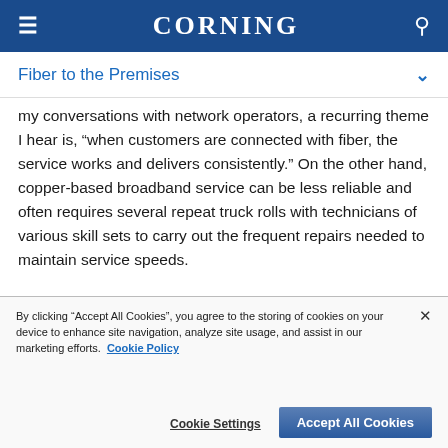CORNING
Fiber to the Premises
my conversations with network operators, a recurring theme I hear is, “when customers are connected with fiber, the service works and delivers consistently.” On the other hand, copper-based broadband service can be less reliable and often requires several repeat truck rolls with technicians of various skill sets to carry out the frequent repairs needed to maintain service speeds.

As consumers become more dependent on their
By clicking “Accept All Cookies”, you agree to the storing of cookies on your device to enhance site navigation, analyze site usage, and assist in our marketing efforts. Cookie Policy
Cookie Settings
Accept All Cookies